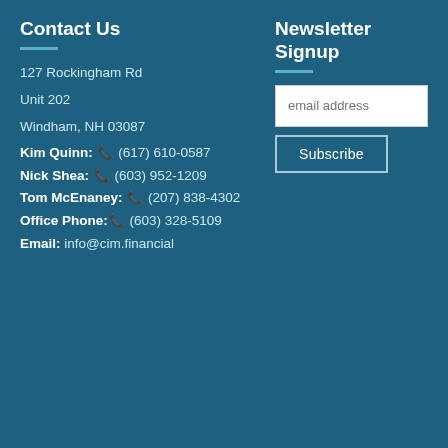Contact Us
Newsletter Signup
127 Rockingham Rd
Unit 202
Windham, NH 03087
Kim Quinn: ☎ (617) 610-0587
Nick Shea: ☎ (603) 952-1209
Tom McEnaney: ☎ (207) 838-4302
Office Phone: ☎ (603) 328-5109
Email: info@cim.financial